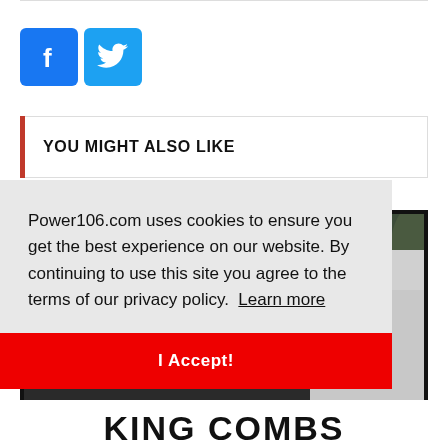[Figure (logo): Facebook and Twitter social sharing icons (blue square icons with f and bird symbols)]
YOU MIGHT ALSO LIKE
[Figure (photo): Partially visible photo of a person (King Combs) with black and white text overlay at the bottom reading KING COMBS]
Power106.com uses cookies to ensure you get the best experience on our website. By continuing to use this site you agree to the terms of our privacy policy. Learn more
I Accept!